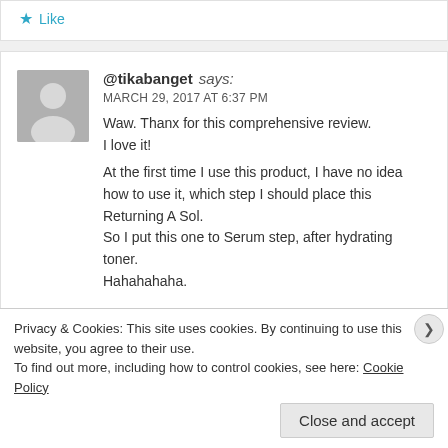★ Like
@tikabanget says:
MARCH 29, 2017 AT 6:37 PM
Waw. Thanx for this comprehensive review. I love it!

At the first time I use this product, I have no idea how to use it, which step I should place this Returning A Sol.
So I put this one to Serum step, after hydrating toner.
Hahahahaha.
Privacy & Cookies: This site uses cookies. By continuing to use this website, you agree to their use.
To find out more, including how to control cookies, see here: Cookie Policy
Close and accept